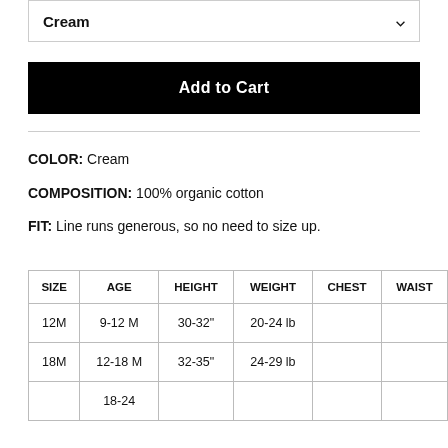Cream
Add to Cart
COLOR: Cream
COMPOSITION: 100% organic cotton
FIT: Line runs generous, so no need to size up.
| SIZE | AGE | HEIGHT | WEIGHT | CHEST | WAIST |
| --- | --- | --- | --- | --- | --- |
| 12M | 9-12 M | 30-32" | 20-24 lb |  |  |
| 18M | 12-18 M | 32-35" | 24-29 lb |  |  |
|  | 18-24 |  |  |  |  |